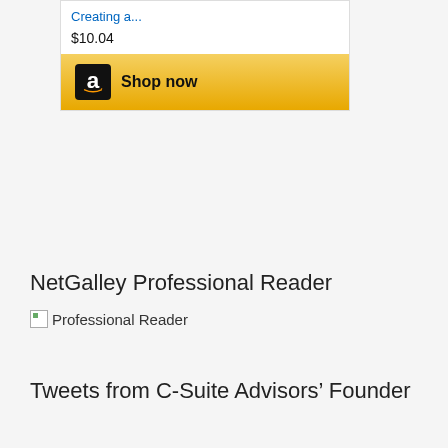[Figure (screenshot): Amazon shopping widget showing a product link 'Creating a...' priced at $10.04 with a 'Shop now' button featuring Amazon logo]
NetGalley Professional Reader
[Figure (illustration): Broken image placeholder with alt text 'Professional Reader']
Tweets from C-Suite Advisors’ Founder